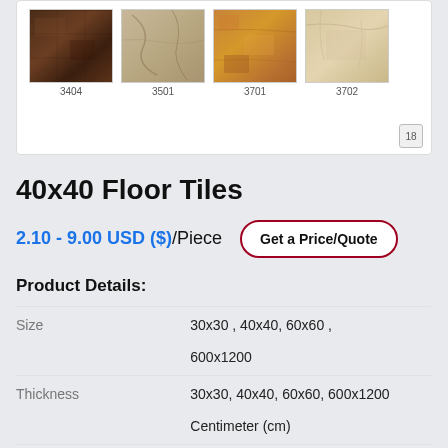[Figure (photo): Four floor tile swatches labeled 3404, 3501, 3701, 3702 showing marble/stone textures in brown and golden tones, with a page number button showing 18]
40x40 Floor Tiles
2.10 - 9.00 USD ($)/Piece  Get a Price/Quote
Product Details:
| Field | Value |
| --- | --- |
| Size | 30x30 , 40x40, 60x60 , 600x1200 |
| Thickness | 30x30, 40x40, 60x60, 600x1200 Centimeter (cm) |
| Supply Ability : | 10000 Piece Per Day |